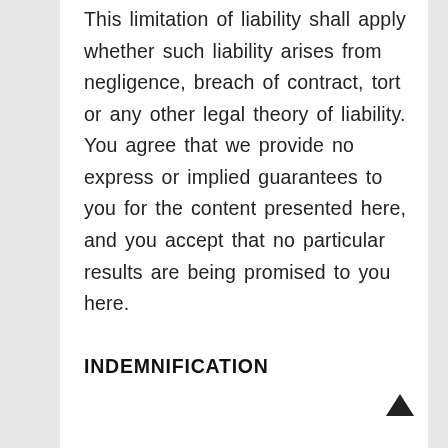This limitation of liability shall apply whether such liability arises from negligence, breach of contract, tort or any other legal theory of liability. You agree that we provide no express or implied guarantees to you for the content presented here, and you accept that no particular results are being promised to you here.
INDEMNIFICATION